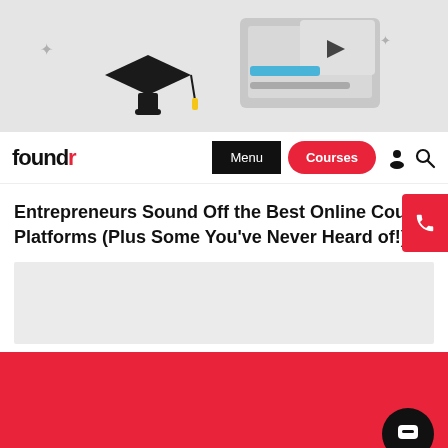[Figure (illustration): Hero image showing a graduation cap and a screen/device with a video play button, educational technology illustration with light blue and grey tones]
foundr  Menu  Courses
Entrepreneurs Sound Off the Best Online Course Platforms (Plus Some You've Never Heard of!)
[Figure (other): Gray advertisement/placeholder box]
[Figure (other): Red content/video section block at the bottom with a dark circular chat button in the bottom right corner]